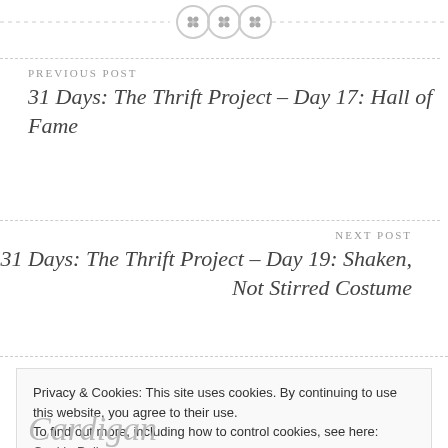[Figure (illustration): Decorative horizontal dashed divider line with three button icons in the center]
PREVIOUS POST
31 Days: The Thrift Project – Day 17: Hall of Fame
NEXT POST
31 Days: The Thrift Project – Day 19: Shaken, Not Stirred Costume
Privacy & Cookies: This site uses cookies. By continuing to use this website, you agree to their use.
To find out more, including how to control cookies, see here: Cookie Policy
Close and accept
Cardigan